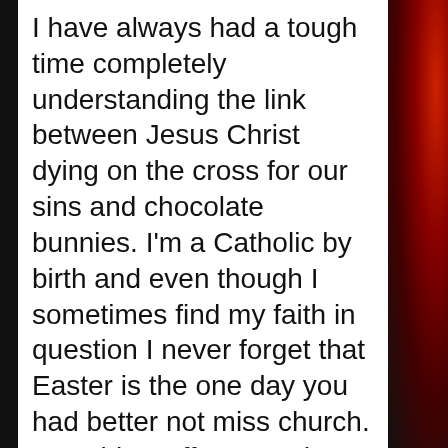I have always had a tough time completely understanding the link between Jesus Christ dying on the cross for our sins and chocolate bunnies. I'm a Catholic by birth and even though I sometimes find my faith in question I never forget that Easter is the one day you had better not miss church. I can blow off every other Sunday and watch football or something equally pointless but on Easter, God is